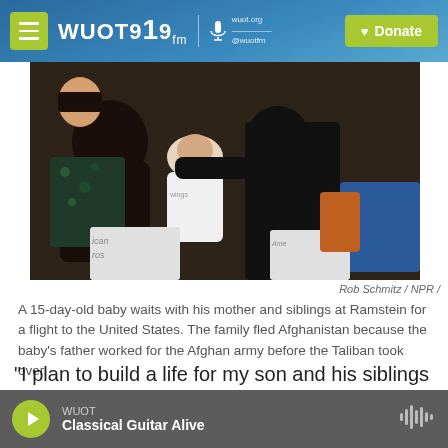WUOT 91.9 FM | wuot.org | @wuotfm | Donate
[Figure (photo): A 15-day-old baby being held by family members with bags labeled 'American' visible in the foreground, at Ramstein air base]
Rob Schmitz / NPR /
A 15-day-old baby waits with his mother and siblings at Ramstein for a flight to the United States. The family fled Afghanistan because the baby's father worked for the Afghan army before the Taliban took over.
"I plan to build a life for my son and his siblings in America," says Mustafa's mother, Worahmeena, who only gives her first name for fear of reprisals
WUOT | Classical Guitar Alive